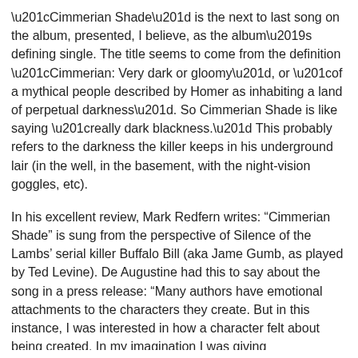“Cimmerian Shade” is the next to last song on the album, presented, I believe, as the album’s defining single. The title seems to come from the definition “Cimmerian: Very dark or gloomy”, or “of a mythical people described by Homer as inhabiting a land of perpetual darkness”. So Cimmerian Shade is like saying “really dark blackness.” This probably refers to the darkness the killer keeps in his underground lair (in the well, in the basement, with the night-vision goggles, etc).
In his excellent review, Mark Redfern writes: “Cimmerian Shade” is sung from the perspective of Silence of the Lambs’ serial killer Buffalo Bill (aka Jame Gumb, as played by Ted Levine). De Augustine had this to say about the song in a press release: “Many authors have emotional attachments to the characters they create. But in this instance, I was interested in how a character felt about being created. In my imagination I was giving consciousness to someone else’s creation. The song is essentially a dialogue between creation and creator that seeks to find understanding to some of the same questions that we ask